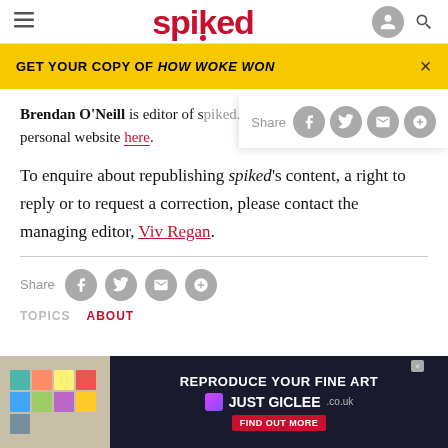spiked
GET YOUR COPY OF HOW WOKE WON
Brendan O'Neill is editor of spiked. Find his personal website here.
To enquire about republishing spiked's content, a right to reply or to request a correction, please contact the managing editor, Viv Regan.
[Figure (screenshot): Advertisement: REPRODUCE YOUR FINE ART - JUST GICLEE.co.uk with Find Out More button]
Share
TOPICS
ABOUT